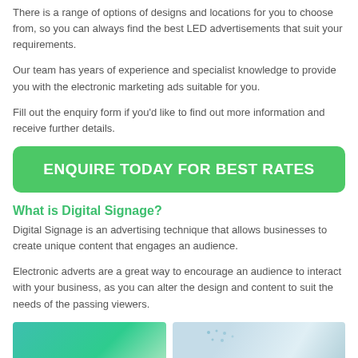There is a range of options of designs and locations for you to choose from, so you can always find the best LED advertisements that suit your requirements.
Our team has years of experience and specialist knowledge to provide you with the electronic marketing ads suitable for you.
Fill out the enquiry form if you'd like to find out more information and receive further details.
ENQUIRE TODAY FOR BEST RATES
What is Digital Signage?
Digital Signage is an advertising technique that allows businesses to create unique content that engages an audience.
Electronic adverts are a great way to encourage an audience to interact with your business, as you can alter the design and content to suit the needs of the passing viewers.
[Figure (photo): Two images side by side: left is a green/teal colored digital signage display, right is a street-level photo of digital billboard signage with dot pattern overlay.]